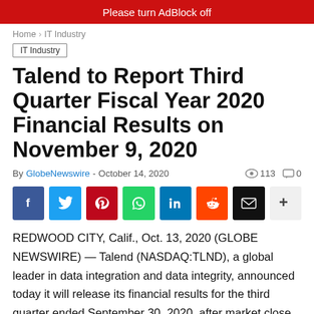Please turn AdBlock off
Home › IT Industry
IT Industry
Talend to Report Third Quarter Fiscal Year 2020 Financial Results on November 9, 2020
By GlobeNewswire - October 14, 2020   113   0
[Figure (other): Social sharing buttons: Facebook, Twitter, Pinterest, WhatsApp, LinkedIn, Reddit, Email, More]
REDWOOD CITY, Calif., Oct. 13, 2020 (GLOBE NEWSWIRE) — Talend (NASDAQ:TLND), a global leader in data integration and data integrity, announced today it will release its financial results for the third quarter ended September 30, 2020, after market close on November 9, 2020. The company will host a